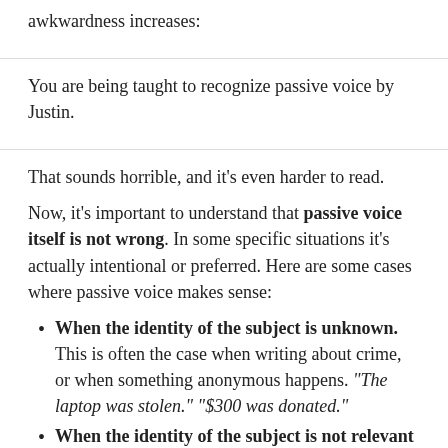awkwardness increases:
You are being taught to recognize passive voice by Justin.
That sounds horrible, and it's even harder to read.
Now, it's important to understand that passive voice itself is not wrong. In some specific situations it's actually intentional or preferred. Here are some cases where passive voice makes sense:
When the identity of the subject is unknown. This is often the case when writing about crime, or when something anonymous happens. “The laptop was stolen.” “$300 was donated.”
When the identity of the subject is not relevant to the sentence. “The window was broken.”